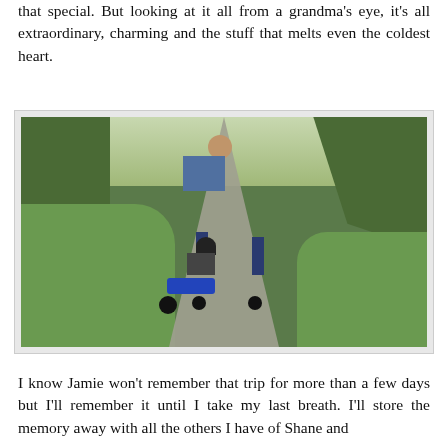that special. But looking at it all from a grandma's eye, it's all extraordinary, charming and the stuff that melts even the coldest heart.
[Figure (photo): An older man in a blue plaid shirt and jeans walks behind a young child riding a blue tricycle on a paved path, surrounded by green grass and trees.]
I know Jamie won't remember that trip for more than a few days but I'll remember it until I take my last breath. I'll store the memory away with all the others I have of Shane and